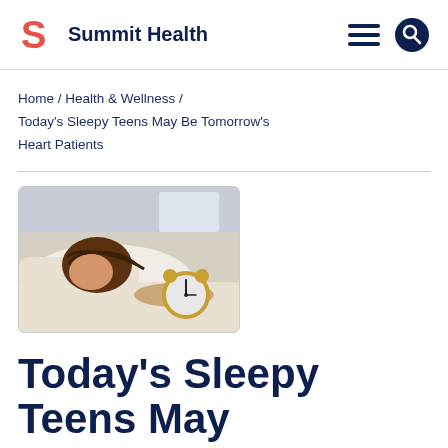Summit Health
Home / Health & Wellness / Today's Sleepy Teens May Be Tomorrow's Heart Patients
[Figure (photo): A young woman with dark hair sleeping on a pillow next to a gold alarm clock]
Today's Sleepy Teens May